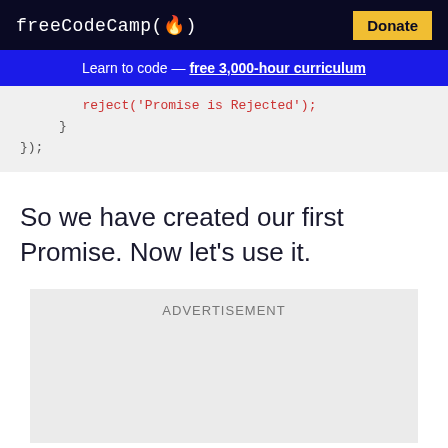freeCodeCamp(🔥)  Donate
Learn to code — free 3,000-hour curriculum
[Figure (screenshot): Partial code snippet showing .reject('Promise is Rejected'); closing braces and });]
So we have created our first Promise. Now let's use it.
[Figure (other): Advertisement placeholder box]